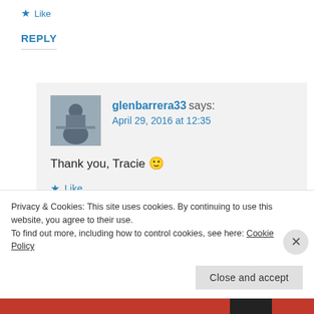Like
REPLY
glenbarrera33 says: April 29, 2016 at 12:35
Thank you, Tracie 🙂
Like
REPLY
Privacy & Cookies: This site uses cookies. By continuing to use this website, you agree to their use.
To find out more, including how to control cookies, see here: Cookie Policy
Close and accept